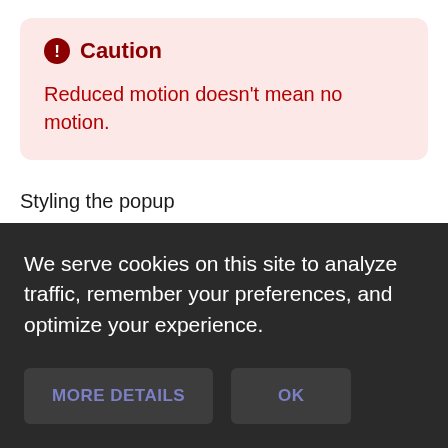[Figure (other): Caution alert box with pink/red background, exclamation icon, bold red 'Caution' heading, and red text 'Reduced motion doesn't mean no motion.']
Styling the popup
We serve cookies on this site to analyze traffic, remember your preferences, and optimize your experience.
[Figure (screenshot): Two buttons on dark background: 'MORE DETAILS' and 'OK', both styled with dark gray background and purple/blue text.]